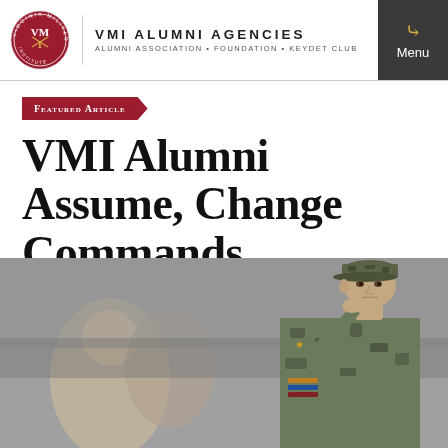VMI ALUMNI AGENCIES | ALUMNI ASSOCIATION · FOUNDATION · KEYDET CLUB
Featured Article
VMI Alumni Assume, Change Commands
[Figure (photo): A military officer in camouflage uniform saluting, with people in the background.]